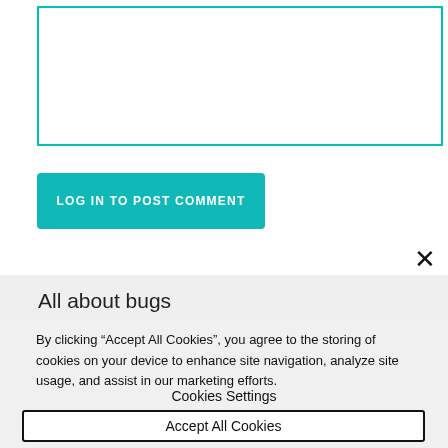[Figure (screenshot): Text input box with teal/cyan border, partially visible at top of page]
LOG IN TO POST COMMENT
All about bugs
By clicking “Accept All Cookies”, you agree to the storing of cookies on your device to enhance site navigation, analyze site usage, and assist in our marketing efforts.
Cookies Settings
Accept All Cookies